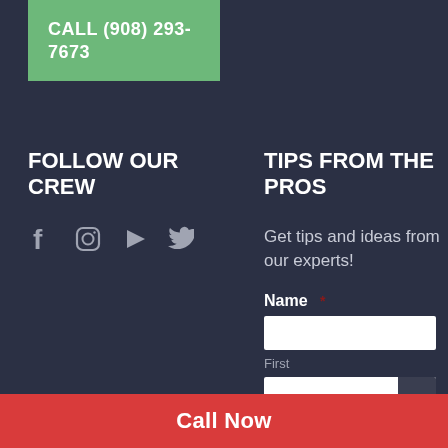CALL (908) 293-7673
FOLLOW OUR CREW
[Figure (illustration): Social media icons: Facebook, Instagram, YouTube, Twitter]
TIPS FROM THE PROS
Get tips and ideas from our experts!
Name * (required field label)
First (field sublabel)
Call Now